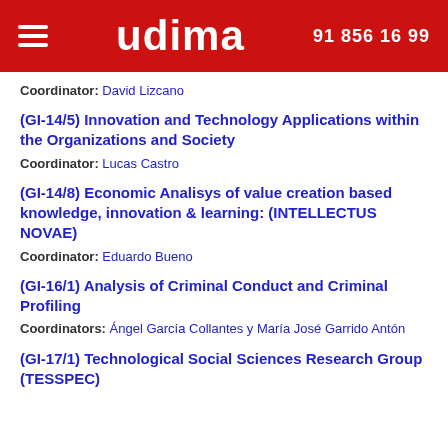udima | 91 856 16 99
Coordinator: David Lizcano
(GI-14/5) Innovation and Technology Applications within the Organizations and Society
Coordinator: Lucas Castro
(GI-14/8) Economic Analisys of value creation based knowledge, innovation & learning: (INTELLECTUS NOVAE)
Coordinator: Eduardo Bueno
(GI-16/1) Analysis of Criminal Conduct and Criminal Profiling
Coordinators: Ángel García Collantes y María José Garrido Antón
(GI-17/1) Technological Social Sciences Research Group (TESSPEC)